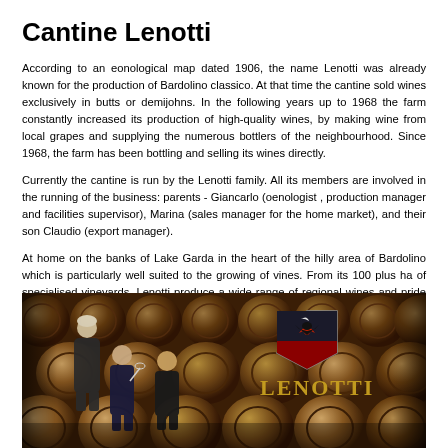Cantine Lenotti
According to an eonological map dated 1906, the name Lenotti was already known for the production of Bardolino classico. At that time the cantine sold wines exclusively in butts or demijohns. In the following years up to 1968 the farm constantly increased its production of high-quality wines, by making wine from local grapes and supplying the numerous bottlers of the neighbourhood. Since 1968, the farm has been bottling and selling its wines directly.
Currently the cantine is run by the Lenotti family. All its members are involved in the running of the business: parents - Giancarlo (oenologist , production manager and facilities supervisor), Marina (sales manager for the home market), and their son Claudio (export manager).
At home on the banks of Lake Garda in the heart of the hilly area of Bardolino which is particularly well suited to the growing of vines. From its 100 plus ha of specialised vineyards, Lenotti produce a wide range of regional wines and pride themselves on the quality of their products.
[Figure (photo): Photo of Lenotti winery cellar showing large wooden barrels/casks stacked in rows, with three people (the Lenotti family) standing in front, and the Lenotti logo (shield with bird emblem and LENOTTI text in gold) visible in the center-right area.]